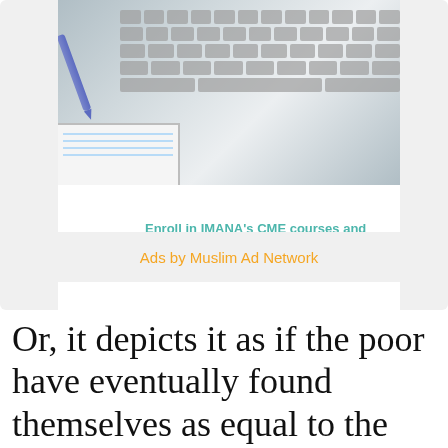[Figure (photo): Advertisement banner showing a laptop keyboard and notebook with pen in background, IMANA CME courses ad with ACCME accredited logo, and 'Ads by Muslim Ad Network' label below.]
Or, it depicts it as if the poor have eventually found themselves as equal to the rich as regards one thing even if it were sharing hunger, thirst and